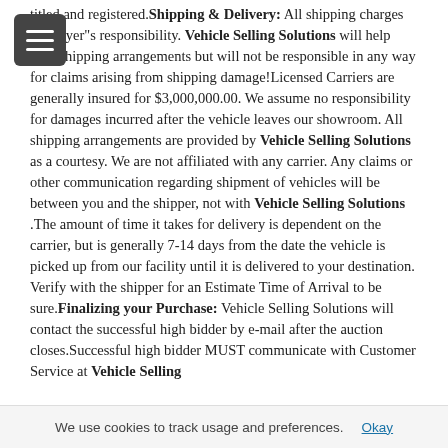titled and registered. Shipping & Delivery: All shipping charges are buyer"s responsibility. Vehicle Selling Solutions will help with shipping arrangements but will not be responsible in any way for claims arising from shipping damage!Licensed Carriers are generally insured for $3,000,000.00. We assume no responsibility for damages incurred after the vehicle leaves our showroom. All shipping arrangements are provided by Vehicle Selling Solutions as a courtesy. We are not affiliated with any carrier. Any claims or other communication regarding shipment of vehicles will be between you and the shipper, not with Vehicle Selling Solutions .The amount of time it takes for delivery is dependent on the carrier, but is generally 7-14 days from the date the vehicle is picked up from our facility until it is delivered to your destination. Verify with the shipper for an Estimate Time of Arrival to be sure. Finalizing your Purchase: Vehicle Selling Solutions will contact the successful high bidder by e-mail after the auction closes.Successful high bidder MUST communicate with Customer Service at Vehicle Selling
We use cookies to track usage and preferences.   Okay